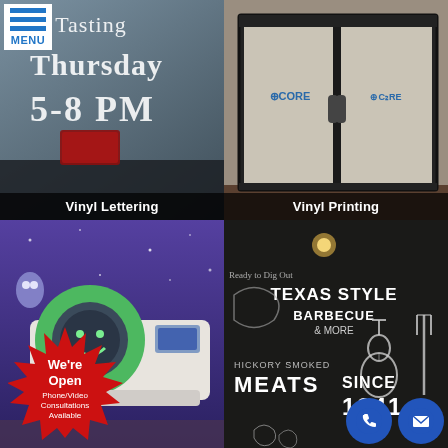[Figure (photo): Menu hamburger icon with MENU text in blue, top-left corner]
[Figure (photo): Window vinyl lettering showing 'Beer Tasting Thursday 5-8 PM' in white serif text on glass]
Vinyl Lettering
[Figure (photo): Glass double doors with frosted vinyl printing showing CORE logo on each door panel]
Vinyl Printing
[Figure (photo): MRI machine wrapped in colorful space-themed vinyl wrap with cartoon alien characters]
[Figure (photo): Texas Style BBQ restaurant wall mural showing 'TEXAS STYLE BARBECUE & MORE', 'HICKORY SMOKED MEATS', 'SINCE 1941' text with guitar and pitchfork graphics]
We're Open Phone/Video Consultations Available
[Figure (photo): Phone icon (blue circle) and email/envelope icon (blue circle) in bottom right corner]